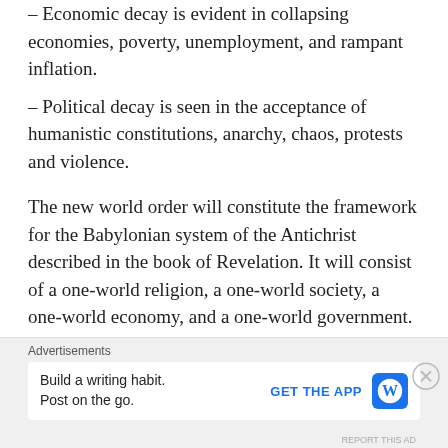– Economic decay is evident in collapsing economies, poverty, unemployment, and rampant inflation.
– Political decay is seen in the acceptance of humanistic constitutions, anarchy, chaos, protests and violence.
The new world order will constitute the framework for the Babylonian system of the Antichrist described in the book of Revelation. It will consist of a one-world religion, a one-world society, a one-world economy, and a one-world government.
Advertisements
Build a writing habit. Post on the go.
GET THE APP